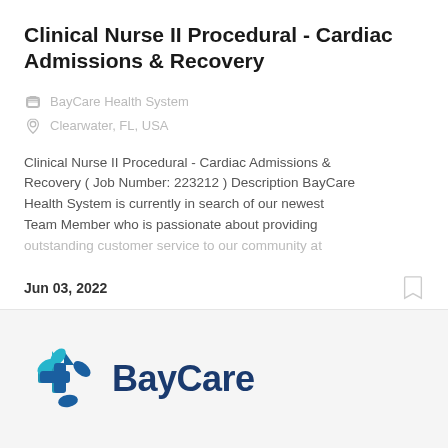Clinical Nurse II Procedural - Cardiac Admissions & Recovery
BayCare Health System
Clearwater, FL, USA
Clinical Nurse II Procedural - Cardiac Admissions & Recovery ( Job Number: 223212 ) Description BayCare Health System is currently in search of our newest Team Member who is passionate about providing outstanding customer service to our community at
Jun 03, 2022
[Figure (logo): BayCare Health System logo with teal/blue cross symbol and dark blue BayCare wordmark]